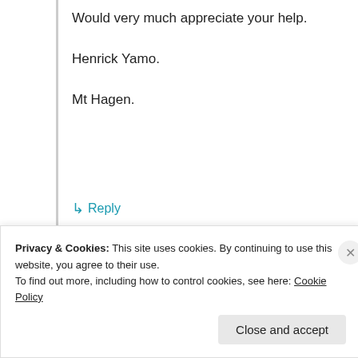Would very much appreciate your help.
Henrick Yamo.
Mt Hagen.
↳ Reply
Advertisements
[Figure (other): Advertisement banner with gradient background showing 'Simplified pricing for']
lgiho agiru
Privacy & Cookies: This site uses cookies. By continuing to use this website, you agree to their use.
To find out more, including how to control cookies, see here: Cookie Policy
Close and accept